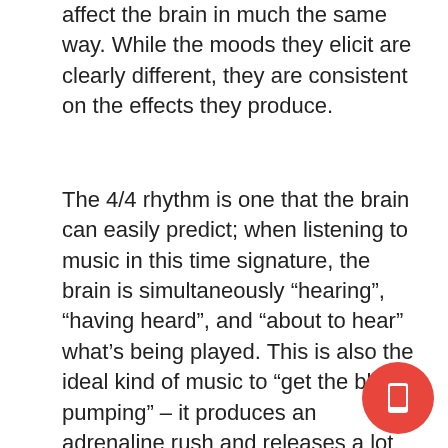affect the brain in much the same way. While the moods they elicit are clearly different, they are consistent on the effects they produce.
The 4/4 rhythm is one that the brain can easily predict; when listening to music in this time signature, the brain is simultaneously “hearing”, “having heard”, and “about to hear” what’s being played. This is also the ideal kind of music to “get the blood pumping” – it produces an adrenaline rush and releases a lot of dopamine in the brain. The 4/4 time signature also mimics the human heartbeat and the body seems to react accordingly. This is likely the main cause for increased heartrate and more energy production in the body.